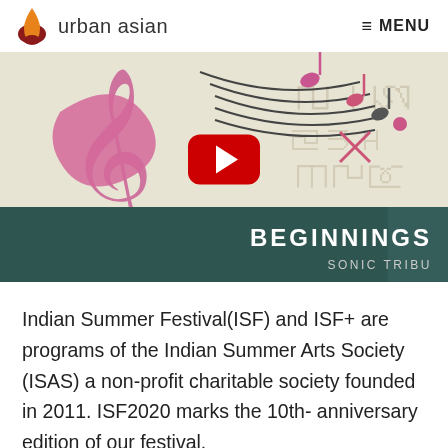urban asian  MENU
[Figure (screenshot): YouTube video thumbnail for 'Beginnings – Sonic Tribute' with a music-themed graphic showing a treble clef, musical notes, and decorative Indian script patterns. A red YouTube play button is centered on the thumbnail. The lower portion has a dark teal band with the words 'BEGINNINGS' and 'SONIC TRIBU' in white.]
Indian Summer Festival(ISF) and ISF+ are programs of the Indian Summer Arts Society (ISAS) a non-profit charitable society founded in 2011. ISF2020 marks the 10th- anniversary edition of our festival.